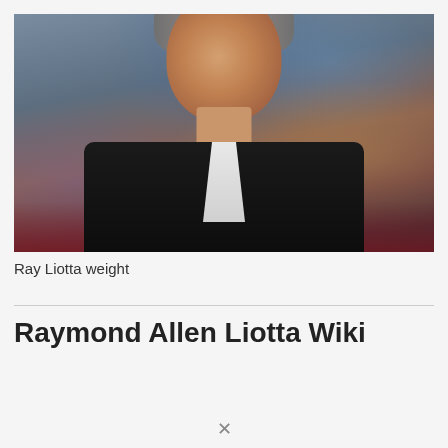[Figure (photo): Close-up portrait photo of Ray Liotta wearing a dark suit with white shirt, gray hair, at what appears to be a red carpet event with blurred background]
Ray Liotta weight
Raymond Allen Liotta Wiki